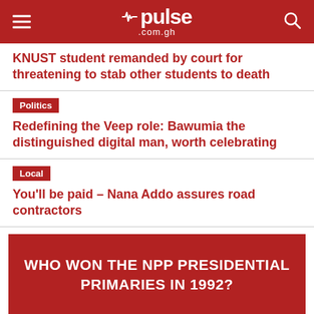pulse .com.gh
KNUST student remanded by court for threatening to stab other students to death
Politics
Redefining the Veep role: Bawumia the distinguished digital man, worth celebrating
Local
You'll be paid – Nana Addo assures road contractors
WHO WON THE NPP PRESIDENTIAL PRIMARIES IN 1992?